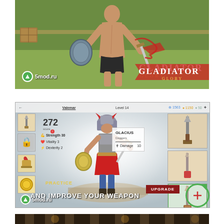[Figure (screenshot): Gladiator Glory game screenshot showing gladiator from behind in an arena with red slash effects. 5mod.ru watermark visible. GLADIATOR GLORY logo in top right.]
[Figure (screenshot): Gladiator Glory game screenshot showing character customization/upgrade screen with gladiator character, weapon stats (GLACIUS Daggers, Damage 10), character stats (Strength 30, Vitality 3, Dexterity 2), score 272, Level 14, resources 1563 and 1150 and 50. PRACTICE button and UPGRADE button visible. Text: PRACTICE AND IMPROVE YOUR WEAPON. 5mod.ru watermark.]
[Figure (screenshot): Bottom partial screenshot showing what appears to be an ancient Egyptian or Roman interior corridor with columns and hieroglyphics.]